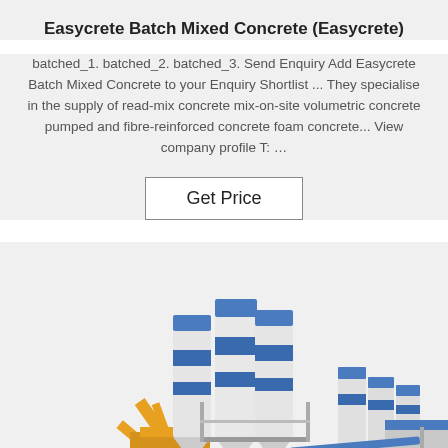Easycrete Batch Mixed Concrete (Easycrete)
batched_1. batched_2. batched_3. Send Enquiry Add Easycrete Batch Mixed Concrete to your Enquiry Shortlist ... They specialise in the supply of read-mix concrete mix-on-site volumetric concrete pumped and fibre-reinforced concrete foam concrete... View company profile T: …
[Figure (photo): Photograph of a concrete batching plant with large white cylindrical silos with blue tops and blue accents, plus yellow construction equipment, industrial plant setting.]